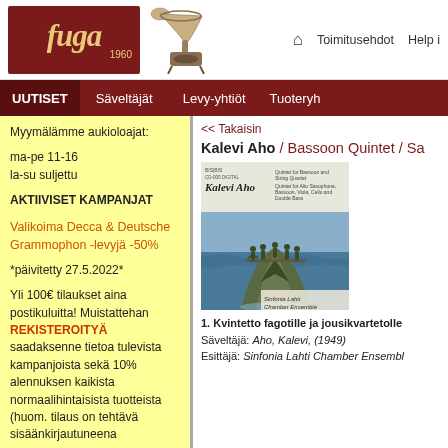[Figure (logo): Fuga 1960 logo with red background and gold text, with gramophone image beside it]
Toimitusehdot   Help i
UUTISET   Säveltäjät   Levy-yhtiöt   Tuoteryh
Myymälämme aukioloajat:

ma-pe 11-16
la-su suljettu

AKTIIVISET KAMPANJAT

Valikoima Decca & Deutsche Grammophon -levyjä -50%

*päivitetty 27.5.2022*

Yli 100€ tilaukset aina postikuluitta! Muistattehan REKISTEROITYÄ saadaksenne tietoa tulevista kampanjoista sekä 10% alennuksen kaikista normaalihintaisista tuotteista (huom. tilaus on tehtävä sisäänkirjautuneena
<< Takaisin
Kalevi Aho / Bassoon Quintet / Sa
[Figure (photo): Album cover for Kalevi Aho - Bassoon Quintet. Shows musicians balancing on a rock in water. Text: Quintet for Bassoon and String Quartet, Quintet for Alto Saxophone, Bassoon, Viola, Cello and Double Bass. Sinfonia Lahti Chamber Ensemble.]
1. Kvintetto fagotille ja jousikvartetolle
Säveltäjä: Aho, Kalevi, (1949)
Esittäjä: Sinfonia Lahti Chamber Ensembl